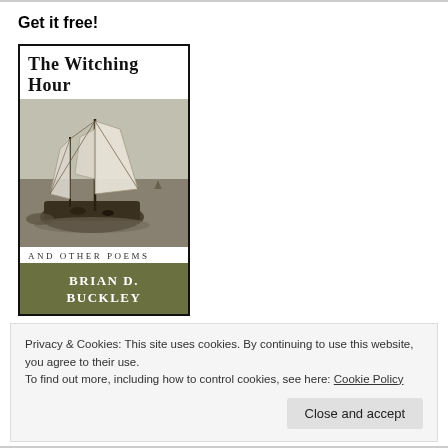Get it free!
[Figure (illustration): Book cover of 'The Witching Hour and Other Poems' by Brian D. Buckley, featuring a sailing ship illustration in grayscale with olive/green author band at the bottom.]
Privacy & Cookies: This site uses cookies. By continuing to use this website, you agree to their use.
To find out more, including how to control cookies, see here: Cookie Policy
Close and accept